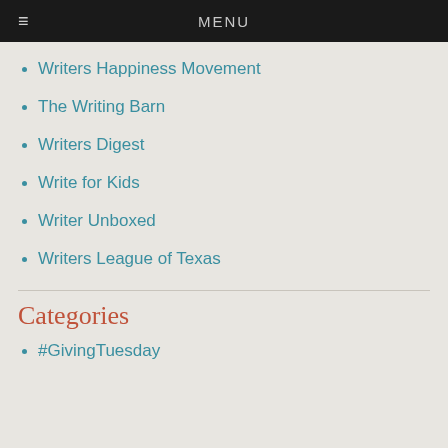≡  MENU
Writers Happiness Movement
The Writing Barn
Writers Digest
Write for Kids
Writer Unboxed
Writers League of Texas
Categories
#GivingTuesday